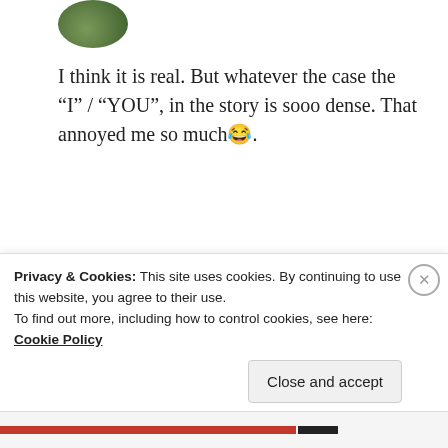[Figure (photo): Circular avatar photo showing a person, partially cropped at top]
I think it is real. But whatever the case the “I” / “YOU”, in the story is sooo dense. That annoyed me so much😂.
★ Liked by 2 people
REPLY
[Figure (photo): Circular avatar photo of a person with dark hair]
ZEALOUS HOMO SAPIENS
17 May 2019 at 7:46 am
Privacy & Cookies: This site uses cookies. By continuing to use this website, you agree to their use.
To find out more, including how to control cookies, see here: Cookie Policy
Close and accept